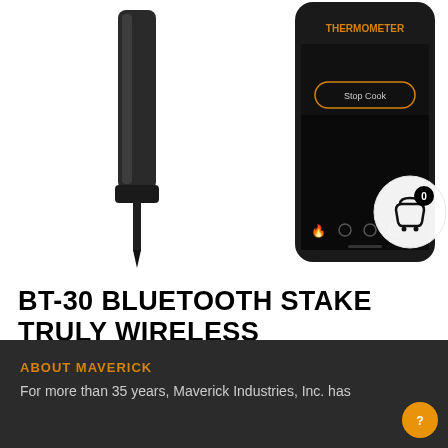[Figure (photo): Product image showing BT-30 Bluetooth wireless food thermometer probe/stake (dark metallic cylindrical device with pointed tip) on the left, and a smartphone displaying the companion app interface on the right. A shopping cart icon with badge showing '0' is overlaid in the upper right.]
BT-30 BLUETOOTH STAKE TRULY WIRELESS INTELLIGENT FOOD THERMOMETER
$79.99
ABOUT MAVERICK
For more than 35 years, Maverick Industries, Inc. has